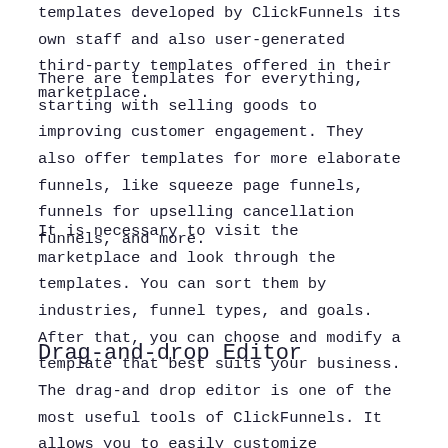templates developed by ClickFunnels its own staff and also user-generated third-party templates offered in their marketplace.
There are templates for everything, starting with selling goods to improving customer engagement. They also offer templates for more elaborate funnels, like squeeze page funnels, funnels for upselling cancellation funnels, and more.
It is necessary to visit the marketplace and look through the templates. You can sort them by industries, funnel types, and goals. After that, you can choose and modify a template that best suits your business.
Drag-and-drop Editor
The drag-and drop editor is one of the most useful tools of ClickFunnels. It allows you to easily customize templates by simply dragging and dropping the elements you would like to include on your site.